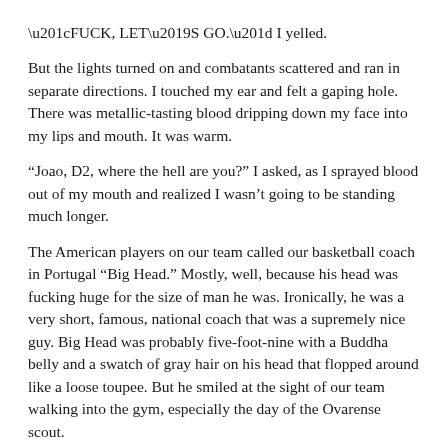“FUCK, LET’S GO.” I yelled.
But the lights turned on and combatants scattered and ran in separate directions. I touched my ear and felt a gaping hole. There was metallic-tasting blood dripping down my face into my lips and mouth. It was warm.
“Joao, D2, where the hell are you?” I asked, as I sprayed blood out of my mouth and realized I wasn’t going to be standing much longer.
The American players on our team called our basketball coach in Portugal “Big Head.” Mostly, well, because his head was fucking huge for the size of man he was. Ironically, he was a very short, famous, national coach that was a supremely nice guy. Big Head was probably five-foot-nine with a Buddha belly and a swatch of gray hair on his head that flopped around like a loose toupee. But he smiled at the sight of our team walking into the gym, especially the day of the Ovarense scout.
“Trevorrrrrr, good morning! How Trevorrrr doing this fine day? You ready to scout video of the Mr. Kentucky Wildcat?”
“Good coach. I’m good.”